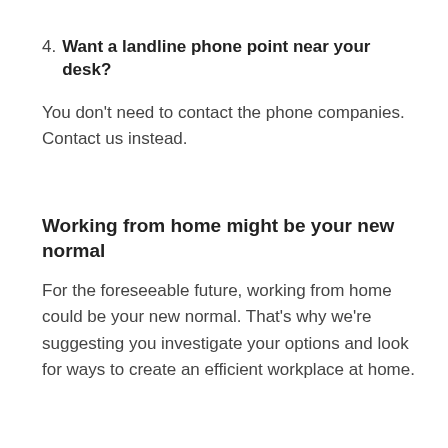4. Want a landline phone point near your desk?
You don’t need to contact the phone companies. Contact us instead.
Working from home might be your new normal
For the foreseeable future, working from home could be your new normal. That’s why we’re suggesting you investigate your options and look for ways to create an efficient workplace at home.